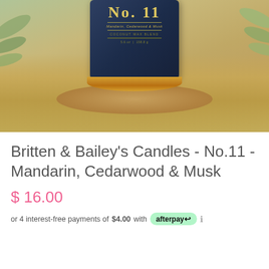[Figure (photo): Product photo of Britten & Bailey's Candles No.11 - a dark navy blue jar candle with gold/copper rim, sitting on a wooden surface with dried straw and eucalyptus leaves. Label reads No. 11, Mandarin, Cedarwood & Musk, Coconut Wax Blend.]
Britten & Bailey's Candles - No.11 - Mandarin, Cedarwood & Musk
$ 16.00
or 4 interest-free payments of $4.00 with afterpay